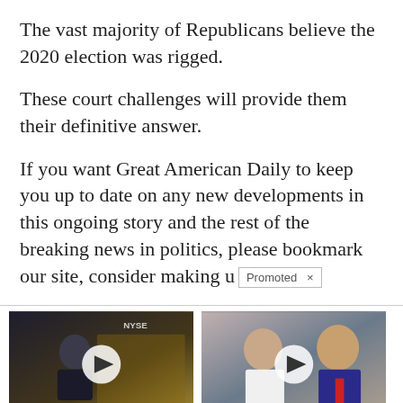The vast majority of Republicans believe the 2020 election was rigged.
These court challenges will provide them their definitive answer.
If you want Great American Daily to keep you up to date on any new developments in this ongoing story and the rest of the breaking news in politics, please bookmark our site, consider making u
Promoted ×
[Figure (photo): Video thumbnail showing a man in a suit at what appears to be a financial news studio (NYSE backdrop), with a play button overlay]
Biden Probably Wants This Video Destroyed — Massive Currency Upheaval Has Started
🔥 107,036
[Figure (photo): Video thumbnail showing Melania and Donald Trump, with a play button overlay]
Democrats Want This Video Destroyed — Watch Now Before It's Banned
🔥 234,001